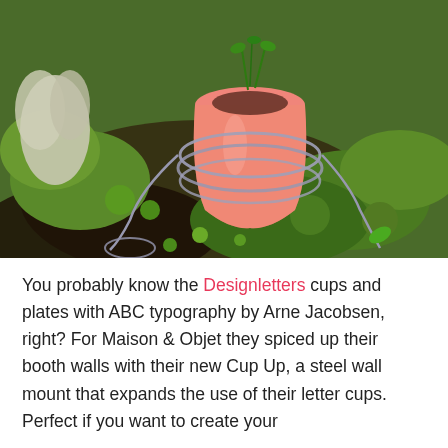[Figure (photo): A pink ceramic vase or cup used as a planter, holding small green seedlings, wrapped with grey/silver wire coiled around it, sitting on a bed of green moss and lichen outdoors.]
You probably know the Designletters cups and plates with ABC typography by Arne Jacobsen, right? For Maison & Objet they spiced up their booth walls with their new Cup Up, a steel wall mount that expands the use of their letter cups. Perfect if you want to create your